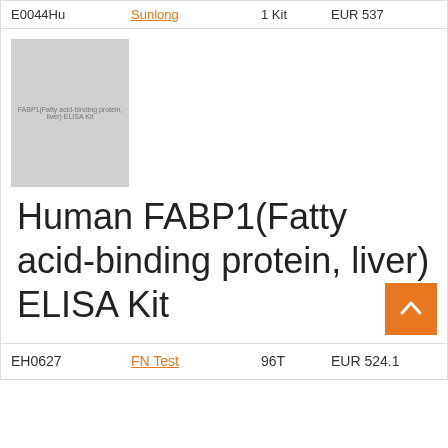|  |  |  |  |
| --- | --- | --- | --- |
| E0044Hu | Sunlong | 1 Kit | EUR 537 |
[Figure (photo): Product image placeholder — gray square with small text 'FABP1(Fatty acid-binding protein, liver)']
Human FABP1(Fatty acid-binding protein, liver) ELISA Kit
|  |  |  |  |
| --- | --- | --- | --- |
| EH0627 | FN Test | 96T | EUR 524.1 |